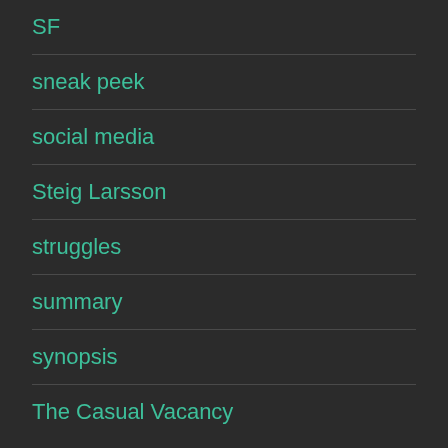SF
sneak peek
social media
Steig Larsson
struggles
summary
synopsis
The Casual Vacancy